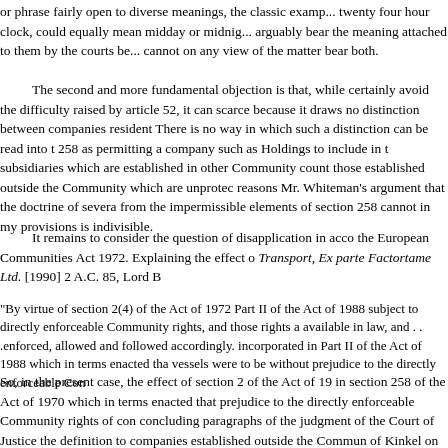or phrase fairly open to diverse meanings, the classic example being twenty four hour clock, could equally mean midday or midnight, could arguably bear the meaning attached to them by the courts below but cannot on any view of the matter bear both.
The second and more fundamental objection is that, while it would certainly avoid the difficulty raised by article 52, it can scarcely do so because it draws no distinction between companies resident in Community. There is no way in which such a distinction can be read into the section 258 as permitting a company such as Holdings to include in the group subsidiaries which are established in other Community countries but not those established outside the Community which are unprotected. For these reasons Mr. Whiteman's argument that the doctrine of severance of from the impermissible elements of section 258 cannot in my provisions is indivisible.
It remains to consider the question of disapplication in accordance with the European Communities Act 1972. Explaining the effect of Transport, Ex parte Factortame Ltd. [1990] 2 A.C. 85, Lord B
"By virtue of section 2(4) of the Act of 1972 Part II of the Act of 1988 subject to directly enforceable Community rights, and those rights available in law, and . . .enforced, allowed and followed accordingly. incorporated in Part II of the Act of 1988 which in terms enacted that vessels were to be without prejudice to the directly enforceable Com
So, in the present case, the effect of section 2 of the Act of 1972 in section 258 of the Act of 1970 which in terms enacted that prejudice to the directly enforceable Community rights of concluding paragraphs of the judgment of the Court of Justice the definition to companies established outside the Community of Kinkel on the effect of the Factortame decision in Reg.